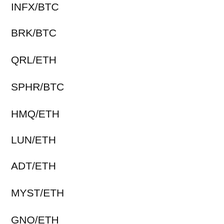INFX/BTC
BRK/BTC
QRL/ETH
SPHR/BTC
HMQ/ETH
LUN/ETH
ADT/ETH
MYST/ETH
GNO/ETH